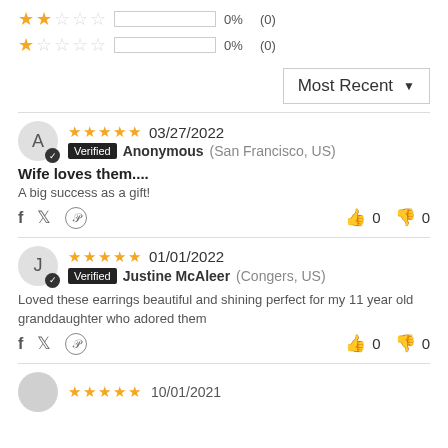[Figure (infographic): 2-star rating row: 2 filled stars, 3 empty stars, empty bar, 0%, (0)]
[Figure (infographic): 1-star rating row: 1 filled star, 4 empty stars, empty bar, 0%, (0)]
Most Recent dropdown selector
[Figure (infographic): Review by Anonymous: 5 stars, 03/27/2022, Verified, San Francisco US. Title: Wife loves them.... Text: A big success as a gift! Thumbs up 0, thumbs down 0]
[Figure (infographic): Review by Justine McAleer: 5 stars, 01/01/2022, Verified, Congers US. Text: Loved these earrings beautiful and shining perfect for my 11 year old granddaughter who adored them. Thumbs up 0, thumbs down 0]